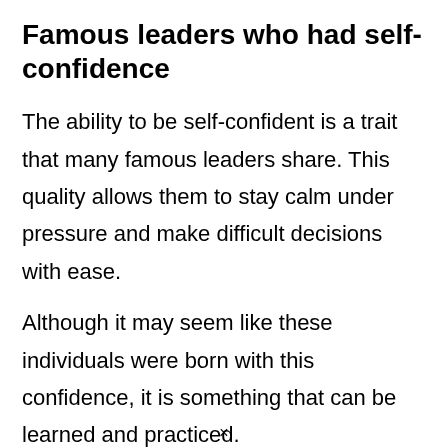Famous leaders who had self-confidence
The ability to be self-confident is a trait that many famous leaders share. This quality allows them to stay calm under pressure and make difficult decisions with ease.
Although it may seem like these individuals were born with this confidence, it is something that can be learned and practiced.
×